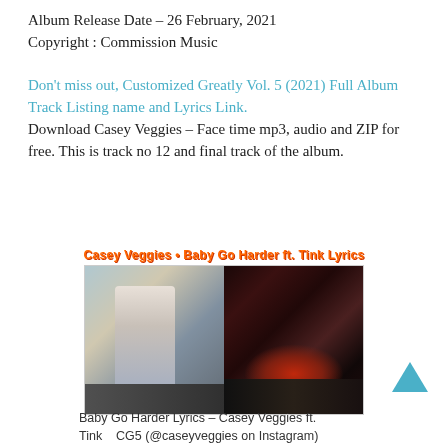Album Release Date – 26 February, 2021
Copyright : Commission Music
Don't miss out, Customized Greatly Vol. 5 (2021) Full Album Track Listing name and Lyrics Link. Download Casey Veggies – Face time mp3, audio and ZIP for free. This is track no 12 and final track of the album.
[Figure (photo): Album cover image showing two side-by-side photos: left shows a man standing by a car in a parking lot, right shows a nighttime scene with fire and light. Title above reads: Casey Veggies · Baby Go Harder ft. Tink Lyrics]
Baby Go Harder Lyrics – Casey Veggies ft. Tink    CG5 (@caseyveggies on Instagram)